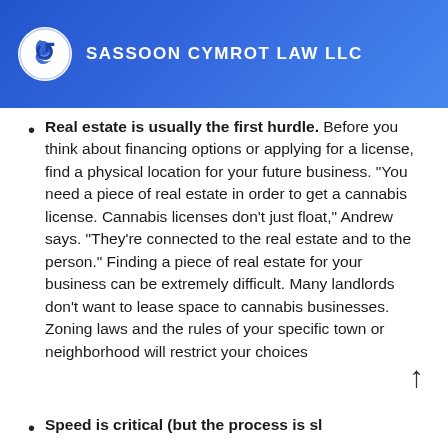SASSOON CYMROT LAW LLC
Real estate is usually the first hurdle. Before you think about financing options or applying for a license, find a physical location for your future business. “You need a piece of real estate in order to get a cannabis license. Cannabis licenses don’t just float,” Andrew says. “They’re connected to the real estate and to the person.” Finding a piece of real estate for your business can be extremely difficult. Many landlords don’t want to lease space to cannabis businesses. Zoning laws and the rules of your specific town or neighborhood will restrict your choices
Speed is critical (but the process is sl…